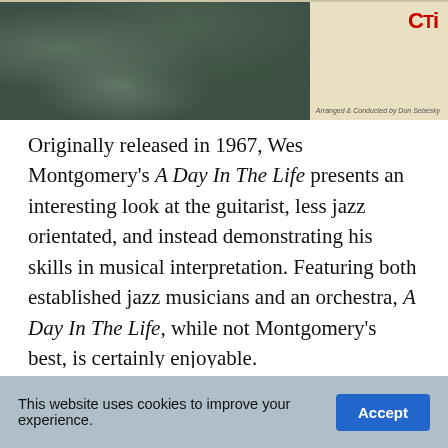[Figure (photo): Album cover image showing dark foliage/leaves on left portion with a beige/cream panel on the right bearing the CTI record label logo in red and small text reading 'Arranged & Conducted by Don Sebesky']
Originally released in 1967, Wes Montgomery’s A Day In The Life presents an interesting look at the guitarist, less jazz orientated, and instead demonstrating his skills in musical interpretation. Featuring both established jazz musicians and an orchestra, A Day In The Life, while not Montgomery’s best, is certainly enjoyable.
The title track is of course the Beatles’ famous song from Sgt. Pepper’s Lonely Hearts Club Band, which opens the album. Played at a slow, laidback tempo, with piano vamping and Montgomery taking artistic liberty
This website uses cookies to improve your experience.